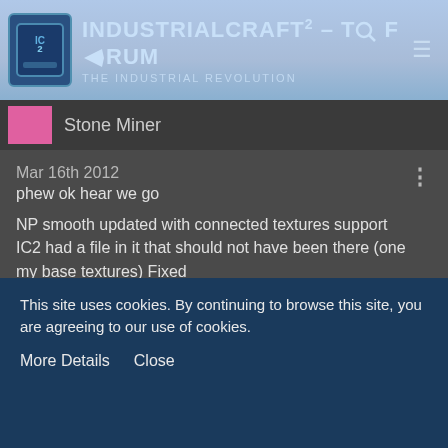IndustrialCraft² - The Forum | The Industrial Revolution
Stone Miner
Mar 16th 2012
phew ok hear we go

NP smooth updated with connected textures support
IC2 had a file in it that should not have been there (one my base textures) Fixed
Added the below mods
Iron chests
Additional Buildcraft objects
Logistic Pipes for buildcraft
Wireless redstone
IC2 thermometer
This site uses cookies. By continuing to browse this site, you are agreeing to our use of cookies.
More Details   Close